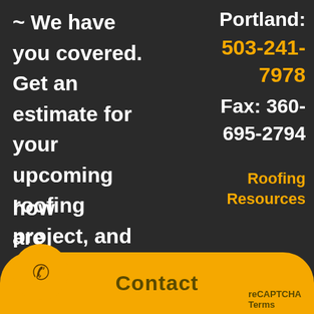~ We have you covered. Get an estimate for your upcoming roofing project, and how are
Portland: 503-241-7978
Fax: 360-695-2794
Roofing Resources
Contact